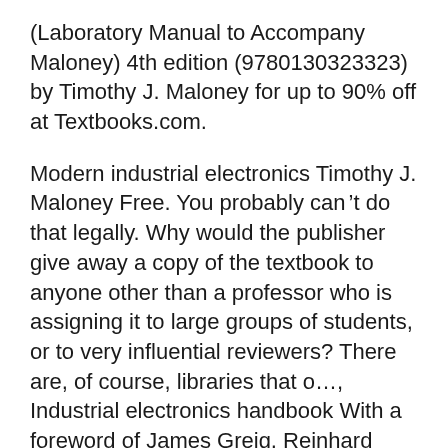(Laboratory Manual to Accompany Maloney) 4th edition (9780130323323) by Timothy J. Maloney for up to 90% off at Textbooks.com.
Modern industrial electronics Timothy J. Maloney Free. You probably can't do that legally. Why would the publisher give away a copy of the textbook to anyone other than a professor who is assigning it to large groups of students, or to very influential reviewers? There are, of course, libraries that o…, Industrial electronics handbook With a foreword of James Greig, Reinhard Kretzmann, Jan 1, 1957, Technology & Engineering, 298 pages. . Industrial Electronics Introduction to Modern Industrial Electronical Practice, Reinhard Kretzmann, 1953,